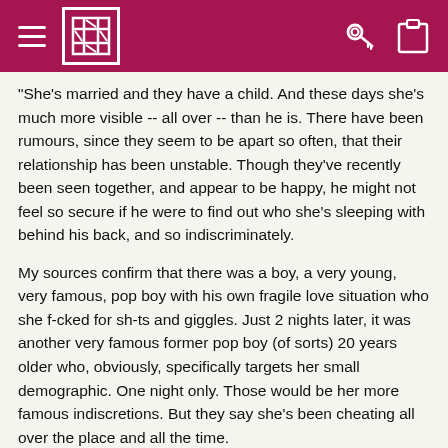[Logo/navigation bar with hamburger menu, site logo, key icon, clipboard icon]
"She's married and they have a child. And these days she's much more visible -- all over -- than he is. There have been rumours, since they seem to be apart so often, that their relationship has been unstable. Though they've recently been seen together, and appear to be happy, he might not feel so secure if he were to find out who she's sleeping with behind his back, and so indiscriminately.
My sources confirm that there was a boy, a very young, very famous, pop boy with his own fragile love situation who she f-cked for sh-ts and giggles. Just 2 nights later, it was another very famous former pop boy (of sorts) 20 years older who, obviously, specifically targets her small demographic. One night only. Those would be her more famous indiscretions. But they say she's been cheating all over the place and all the time.
Top suspects: Miranda Kerr, Justin Bieber, Leonardo